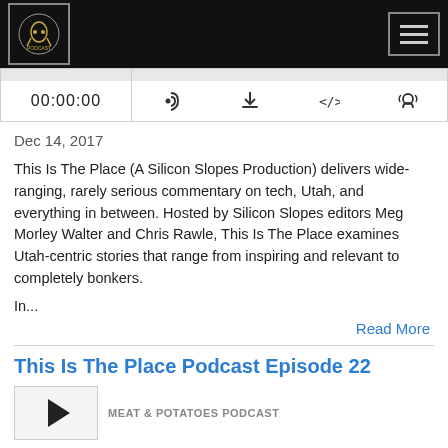[Figure (screenshot): Navigation bar with podcast logo on left and hamburger menu on right, dark background]
[Figure (screenshot): Audio player bar showing 00:00:00 timestamp and icons for RSS, download, embed code, and settings]
Dec 14, 2017
This Is The Place (A Silicon Slopes Production) delivers wide-ranging, rarely serious commentary on tech, Utah, and everything in between. Hosted by Silicon Slopes editors Meg Morley Walter and Chris Rawle, This Is The Place examines Utah-centric stories that range from inspiring and relevant to completely bonkers.
In...
Read More
This Is The Place Podcast Episode 22
[Figure (screenshot): Podcast episode thumbnail placeholder with play button arrow]
MEAT & POTATOES PODCAST